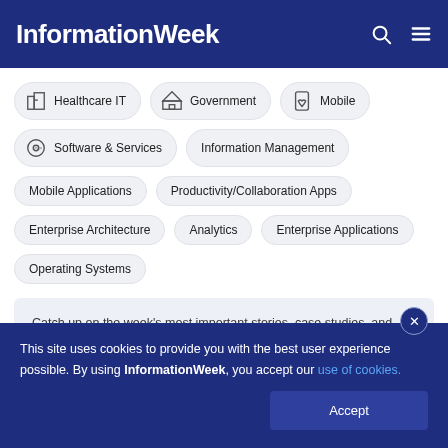InformationWeek
Healthcare IT
Government
Mobile
Software & Services
Information Management
Mobile Applications
Productivity/Collaboration Apps
Enterprise Architecture
Analytics
Enterprise Applications
Operating Systems
Catch up on the week's most important stories, case studies, and
This site uses cookies to provide you with the best user experience possible. By using InformationWeek, you accept our use of cookies.